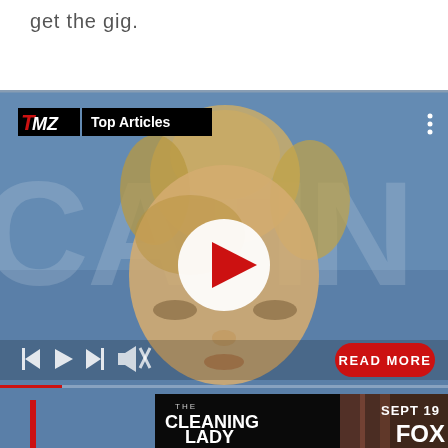get the gig.
[Figure (screenshot): TMZ Top Articles video player showing a blonde woman's face on a blue background with white letters, a white circular play button with red triangle, playback controls at bottom left, a red READ MORE button, a red progress bar, and a 'The Cleaning Lady' FOX advertisement banner at the bottom (SEPT 19, FOX).]
TMZ Top Articles — READ MORE — THE CLEANING LADY SEPT 19 FOX